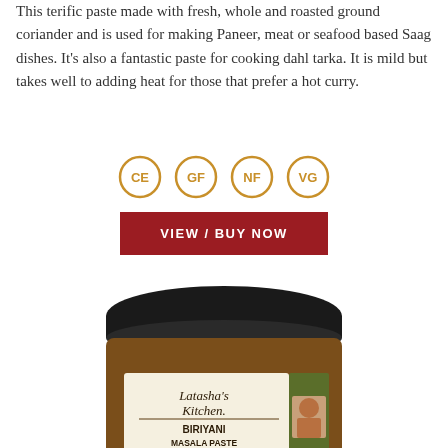This terific paste made with fresh, whole and roasted ground coriander and is used for making Paneer, meat or seafood based Saag dishes. It's also a fantastic paste for cooking dahl tarka. It is mild but takes well to adding heat for those that prefer a hot curry.
[Figure (infographic): Four dietary/allergen badge icons in gold circles: CE, GF, NF, VG]
[Figure (other): Red 'VIEW / BUY NOW' button]
[Figure (photo): Jar of Latasha's Kitchen Biriyani Masala Paste with a dark lid, brown glass jar, label showing Latasha's Kitchen branding and a woman's portrait photo]